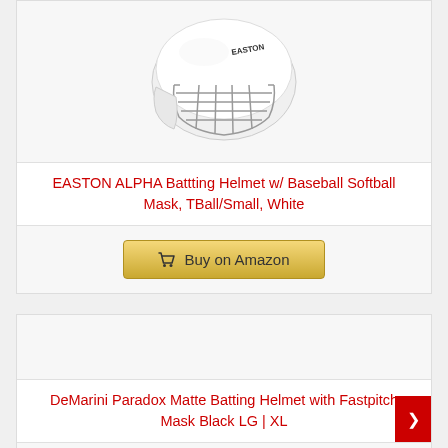[Figure (photo): White EASTON batting helmet with metal face mask/cage guard]
EASTON ALPHA Battting Helmet w/ Baseball Softball Mask, TBall/Small, White
[Figure (other): Buy on Amazon button with shopping cart icon]
[Figure (photo): DeMarini batting helmet product image area (partially visible/empty)]
DeMarini Paradox Matte Batting Helmet with Fastpitch Mask Black LG | XL
[Figure (other): Buy on Amazon button with shopping cart icon]